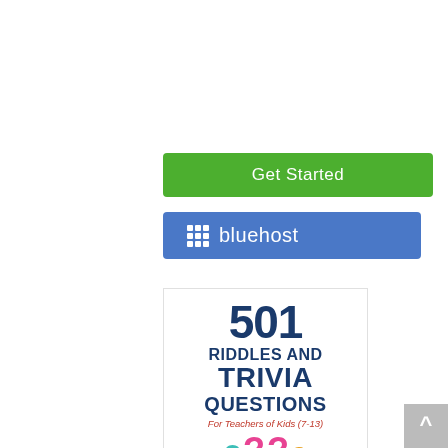[Figure (screenshot): Green 'Get Started' button for web hosting service]
[Figure (screenshot): Blue Bluehost web hosting button with grid logo]
[Figure (illustration): Book cover: '501 Riddles and Trivia Questions For Teachers of Kids (7-13)' with colorful question marks at the bottom]